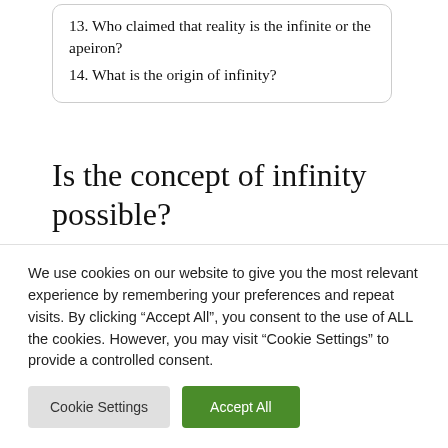13. Who claimed that reality is the infinite or the apeiron?
14. What is the origin of infinity?
Is the concept of infinity possible?
Although the concept of infinity has a mathematical basis, we have yet to perform an experiment that yields an infinite result
We use cookies on our website to give you the most relevant experience by remembering your preferences and repeat visits. By clicking "Accept All", you consent to the use of ALL the cookies. However, you may visit "Cookie Settings" to provide a controlled consent.